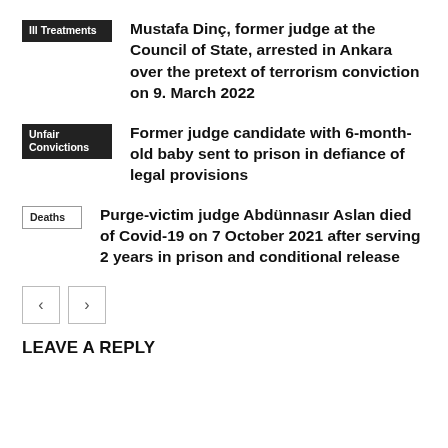III Treatments — Mustafa Dinç, former judge at the Council of State, arrested in Ankara over the pretext of terrorism conviction on 9. March 2022
Unfair Convictions — Former judge candidate with 6-month-old baby sent to prison in defiance of legal provisions
Deaths — Purge-victim judge Abdünnasır Aslan died of Covid-19 on 7 October 2021 after serving 2 years in prison and conditional release
LEAVE A REPLY